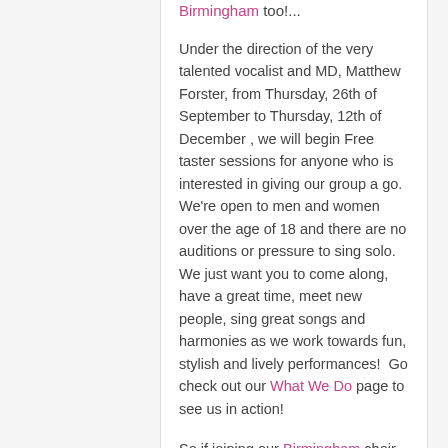Birmingham too!...
Under the direction of the very talented vocalist and MD, Matthew Forster, from Thursday, 26th of September to Thursday, 12th of December , we will begin Free taster sessions for anyone who is interested in giving our group a go.  We're open to men and women over the age of 18 and there are no auditions or pressure to sing solo.  We just want you to come along, have a great time, meet new people, sing great songs and harmonies as we work towards fun, stylish and lively performances!  Go check out our What We Do page to see us in action!
So if joining our Birmingham choir sounds like it might be up your street, please visit our Birmingham page to find out more information about where we rehearse, when and for how many weeks.  For more general information about what to expect when you